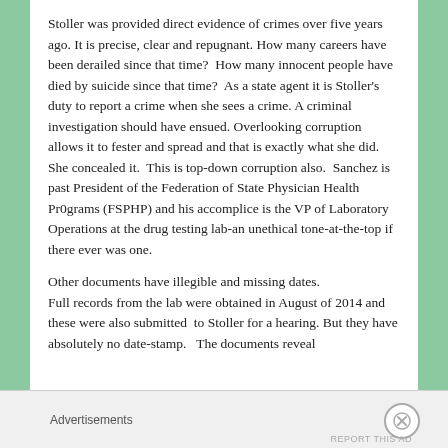Stoller was provided direct evidence of crimes over five years ago. It is precise, clear and repugnant. How many careers have been derailed since that time?  How many innocent people have died by suicide since that time?  As a state agent it is Stoller's  duty to report a crime when she sees a crime. A criminal investigation should have ensued. Overlooking corruption allows it to fester and spread and that is exactly what she did.  She concealed it.  This is top-down corruption also.  Sanchez is past President of the Federation of State Physician Health Pr0grams (FSPHP) and his accomplice is the VP of Laboratory Operations at the drug testing lab-an unethical tone-at-the-top if there ever was one.
Other documents have illegible and missing dates. Full records from the lab were obtained in August of 2014 and these were also submitted  to Stoller for a hearing. But they have absolutely no date-stamp.   The documents reveal
Advertisements